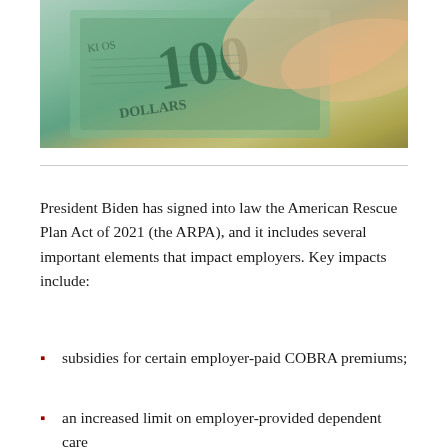[Figure (photo): Close-up photo of hands holding a $100 US dollar bill]
President Biden has signed into law the American Rescue Plan Act of 2021 (the ARPA), and it includes several important elements that impact employers. Key impacts include:
subsidies for certain employer-paid COBRA premiums;
an increased limit on employer-provided dependent care